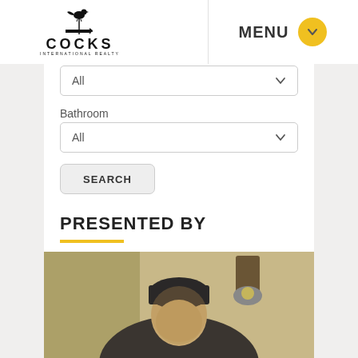[Figure (logo): Cocks International Realty logo with rooster weathervane on top and COCKS INTERNATIONAL REALTY text]
MENU
All
Bathroom
All
SEARCH
PRESENTED BY
[Figure (photo): Photo of a person wearing a dark beanie hat, with wooden wall paneling and a vintage lamp fixture in the background]